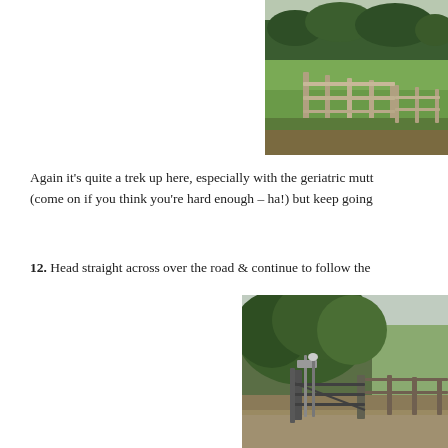[Figure (photo): Countryside scene with wooden fence/gate in foreground, green fields and a tree line in the background, overcast sky.]
Again it's quite a trek up here, especially with the geriatric mutt (come on if you think you're hard enough – ha!) but keep going
12. Head straight across over the road & continue to follow the
[Figure (photo): Entrance gate with large overhanging trees, a fingerpost/signpost visible, and a wide gravel track or road in the foreground.]